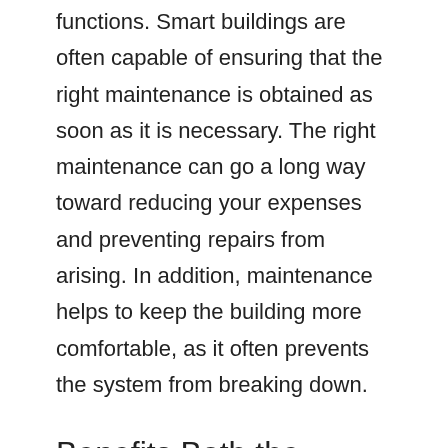functions. Smart buildings are often capable of ensuring that the right maintenance is obtained as soon as it is necessary. The right maintenance can go a long way toward reducing your expenses and preventing repairs from arising. In addition, maintenance helps to keep the building more comfortable, as it often prevents the system from breaking down.
Benefits Both the Environment and your Wallet
The more energy your building uses, the bigger the negative impact your company has on the